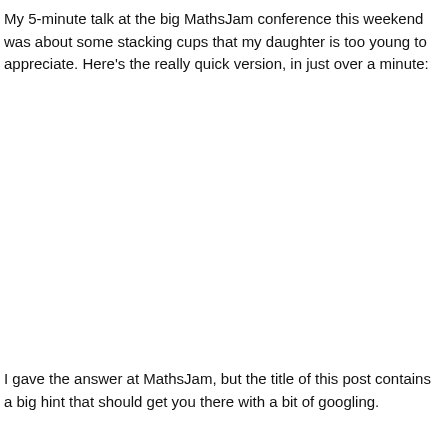My 5-minute talk at the big MathsJam conference this weekend was about some stacking cups that my daughter is too young to appreciate. Here's the really quick version, in just over a minute:
I gave the answer at MathsJam, but the title of this post contains a big hint that should get you there with a bit of googling.